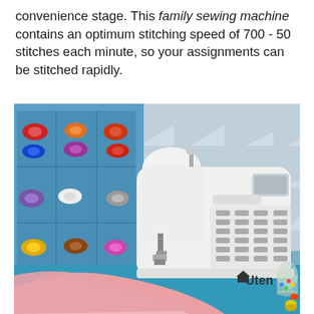convenience stage. This family sewing machine contains an optimum stitching speed of 700 - 50 stitches each minute, so your assignments can be stitched rapidly.
[Figure (photo): A white Uten brand computerized sewing machine on a blue surface with pink fabric draped in front, colorful thread spools on a blue shelf organizer in the background, and a chevron patterned wall.]